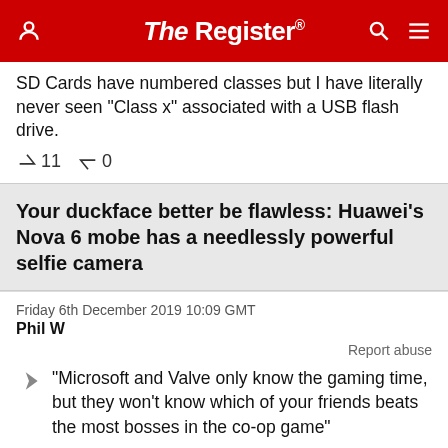The Register
SD Cards have numbered classes but I have literally never seen "Class x" associated with a USB flash drive.
↑11  ↓0
Your duckface better be flawless: Huawei's Nova 6 mobe has a needlessly powerful selfie camera
Friday 6th December 2019 10:09 GMT
Phil W
Report abuse
"Microsoft and Valve only know the gaming time, but they won't know which of your friends beats the most bosses in the co-op game"
Yes they do, that's what achievements/awards/medals etc in games are for.